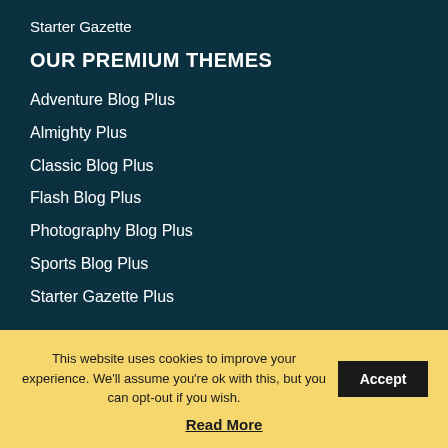Starter Gazette
OUR PREMIUM THEMES
Adventure Blog Plus
Almighty Plus
Classic Blog Plus
Flash Blog Plus
Photography Blog Plus
Sports Blog Plus
Starter Gazette Plus
This website uses cookies to improve your experience. We'll assume you're ok with this, but you can opt-out if you wish. Accept
Read More